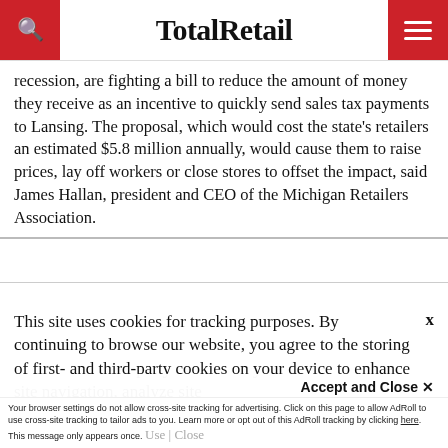TotalRetail
recession, are fighting a bill to reduce the amount of money they receive as an incentive to quickly send sales tax payments to Lansing. The proposal, which would cost the state's retailers an estimated $5.8 million annually, would cause them to raise prices, lay off workers or close stores to offset the impact, said James Hallan, president and CEO of the Michigan Retailers Association.
This site uses cookies for tracking purposes. By continuing to browse our website, you agree to the storing of first- and third-party cookies on your device to enhance site navigation, analyze site usage, and assist in our marketing and
Accept and Close ×
Your browser settings do not allow cross-site tracking for advertising. Click on this page to allow AdRoll to use cross-site tracking to tailor ads to you. Learn more or opt out of this AdRoll tracking by clicking here. This message only appears once.